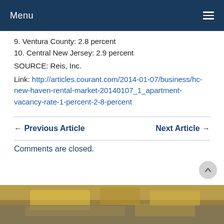Menu
9. Ventura County: 2.8 percent
10. Central New Jersey: 2.9 percent
SOURCE: Reis, Inc.
Link: http://articles.courant.com/2014-01-07/business/hc-new-haven-rental-market-20140107_1_apartment-vacancy-rate-1-percent-2-8-percent
← Previous Article
Next Article →
Comments are closed.
[Figure (photo): Blurred food photo at bottom of page]